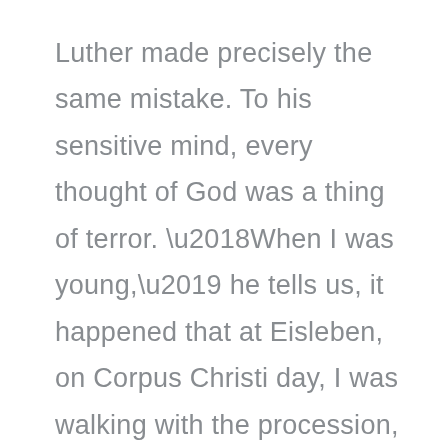Luther made precisely the same mistake. To his sensitive mind, every thought of God was a thing of terror. ‘When I was young,’ he tells us, it happened that at Eisleben, on Corpus Christi day, I was walking with the procession, when, suddenly, the sight of the Holy Sacrament which was carried by Doctor Staupitz, so terrified me that